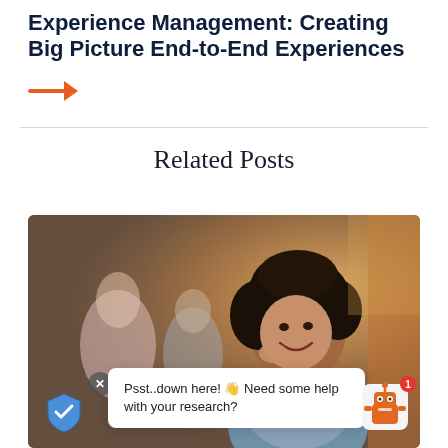Experience Management: Creating Big Picture End-to-End Experiences
[Figure (illustration): Orange right-pointing arrow icon]
Related Posts
[Figure (photo): Woman with curly hair smiling and talking on phone in a cafe setting, with blurred people in background. A chatbot widget overlay shows: 'Psst..down here! 👋 Need some help with your research?' with a close button, shield icon, and robot chatbot icon with notification badge showing 1.]